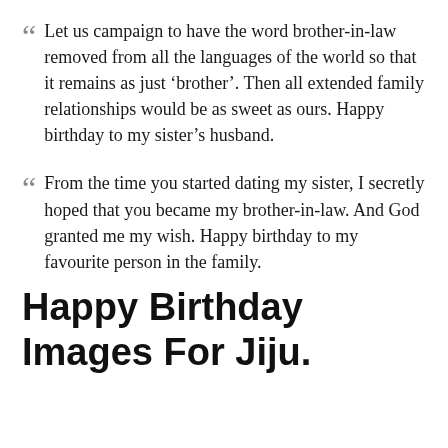Let us campaign to have the word brother-in-law removed from all the languages of the world so that it remains as just ‘brother’. Then all extended family relationships would be as sweet as ours. Happy birthday to my sister’s husband.
From the time you started dating my sister, I secretly hoped that you became my brother-in-law. And God granted me my wish. Happy birthday to my favourite person in the family.
Happy Birthday Images For Jiju.